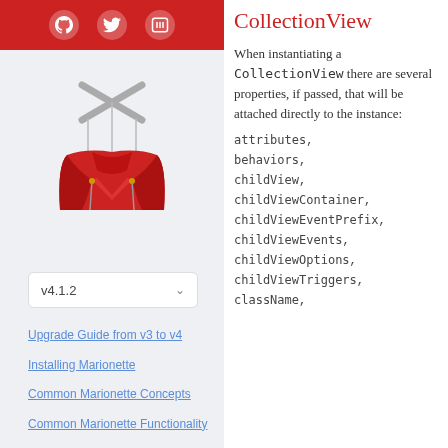[Figure (logo): Red top navigation bar with GitHub, Twitter, and Marionette icon buttons in white circles]
[Figure (illustration): Marionette.js mascot — a red marionette puppet jacket logo with gray crossed sticks above]
v4.1.2
Upgrade Guide from v3 to v4
Installing Marionette
Common Marionette Concepts
Common Marionette Functionality
Marionette Classes
CollectionView
When instantiating a CollectionView there are several properties, if passed, that will be attached directly to the instance:
attributes, behaviors, childView, childViewContainer, childViewEventPrefix, childViewEvents, childViewOptions, childViewTriggers, className,